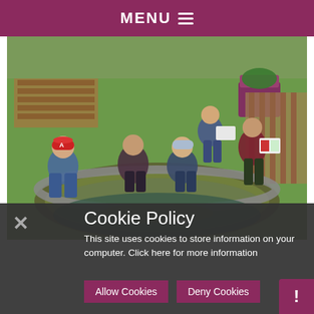MENU
[Figure (photo): Children in school uniforms crouched around a small outdoor pond/water feature in a garden setting. One child wears a red cap with 'A'. Two children in the background hold books/artwork. Wooden pallets and purple planters visible in background on grass.]
Cookie Policy
This site uses cookies to store information on your computer. Click here for more information
Allow Cookies
Deny Cookies